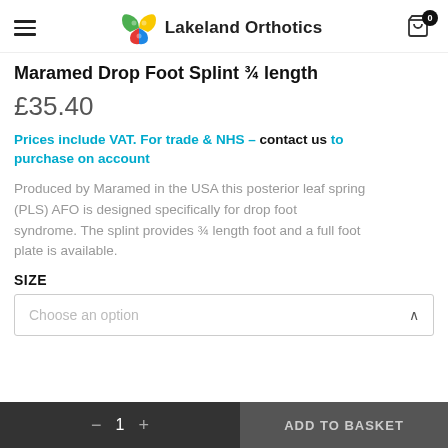Lakeland Orthotics
Maramed Drop Foot Splint ¾ length
£35.40
Prices include VAT. For trade & NHS – contact us to purchase on account
Produced by Maramed in the USA this posterior leaf spring (PLS) AFO is designed specifically for drop foot syndrome. The splint provides ¾ length foot and a full foot plate is available.
SIZE
Choose an option
— 1 +   ADD TO BASKET